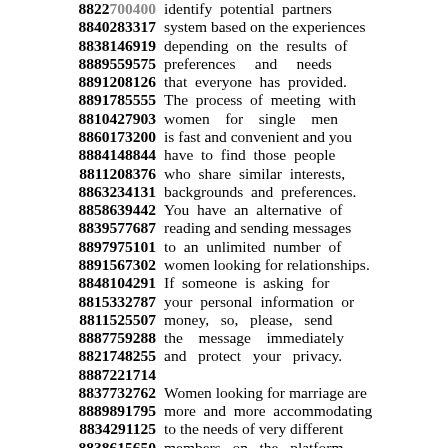8822700400 identify potential partners
8840283317 system based on the experiences
8838146919 depending on the results of
8889559575 preferences and needs
8891208126 that everyone has provided.
8891785555 The process of meeting with
8810427903 women for single men
8860173200 is fast and convenient and you
8884148844 have to find those people
8811208376 who share similar interests,
8863234131 backgrounds and preferences.
8858639442 You have an alternative of
8839577687 reading and sending messages
8897975101 to an unlimited number of
8891567302 women looking for relationships.
8848104291 If someone is asking for
8815332787 your personal information or
8811525507 money, so, please, send
8887759288 the message immediately
8821748255 and protect your privacy.
8887221714
8837732762 Women looking for marriage are
8889891795 more and more accommodating
8834291125 to the needs of very different
8838615650 members on the platform.
8847427913 Since you are new to this site